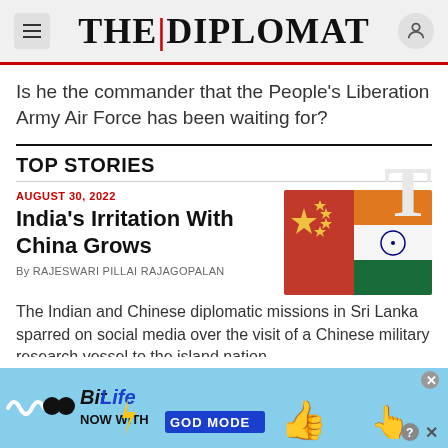THE DIPLOMAT
Is he the commander that the People's Liberation Army Air Force has been waiting for?
TOP STORIES
AUGUST 30, 2022
India's Irritation With China Grows
By RAJESWARI PILLAI RAJAGOPALAN
[Figure (photo): Chinese and Indian flags overlapping]
The Indian and Chinese diplomatic missions in Sri Lanka sparred on social media over the visit of a Chinese military research vessel to the island nation.
[Figure (infographic): BitLife advertisement banner: BitLife NOW WITH GOD MODE]